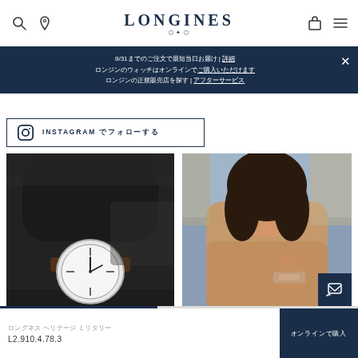LONGINES
8/31までのご注文で最短当日お届け | 詳細 ロンジンのウォッチはオンラインでご購入いただけます ロンジンの正規販売店を探す | アフターサービス
INSTAGRAM でフォローする
[Figure (photo): Close-up of a person's wrist wearing a Longines watch with white dial and brown leather strap over a dark knitted sweater]
[Figure (photo): Woman with dark curly hair wearing a camel coat and a Longines watch on her wrist, looking upward]
ロングネス ヘリテージ ミリタリー
L2.910.4.78.3
オンラインで購入